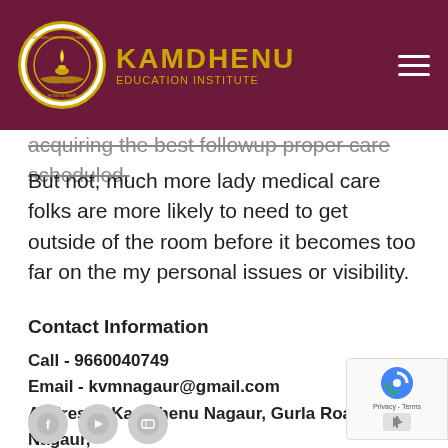[Figure (logo): Kamdhenu Education Institute logo with circular emblem and gold text on dark red background]
acquiring the best followup proper care scheduled.
But not, much more lady medical care folks are more likely to need to get outside of the room before it becomes too far on the my personal issues or visibility.
Contact Information
Call - 9660040749
Email - kvmnagaur@gmail.com
Address - Kamdhenu Nagaur, Gurla Road, Nagaur, Rajasthan